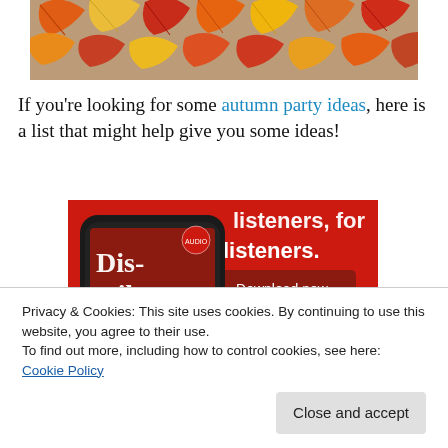[Figure (illustration): Autumn maple leaves in orange, red, and yellow colors forming a decorative banner image]
If you're looking for some autumn party ideas, here is a list that might help give you some ideas!
[Figure (screenshot): Podcast app advertisement on red background showing a phone with 'Dis-trib-uted' podcast cover, text 'listeners, for listeners.' and a 'Download now' button]
Privacy & Cookies: This site uses cookies. By continuing to use this website, you agree to their use.
To find out more, including how to control cookies, see here: Cookie Policy